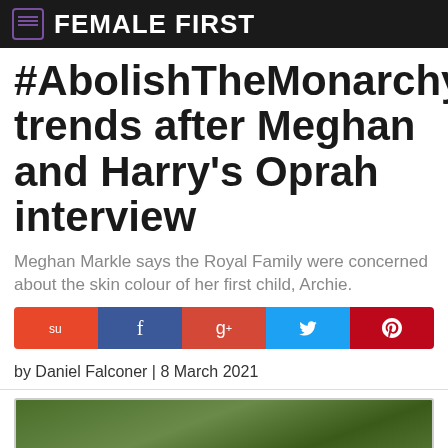FEMALE FIRST
#AbolishTheMonarchy trends after Meghan and Harry's Oprah interview
Meghan Markle says the Royal Family were concerned about the skin colour of her first child, Archie.
by Daniel Falconer | 8 March 2021
[Figure (photo): Outdoor photo partially visible at bottom of page, green foliage background]